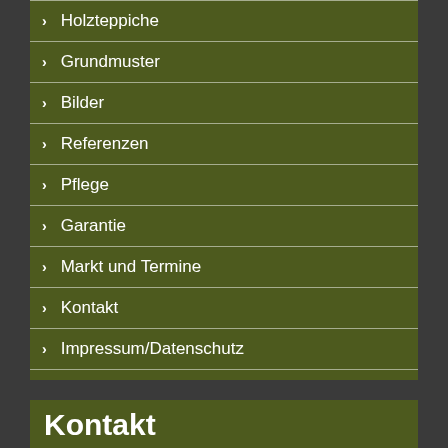Holzteppiche
Grundmuster
Bilder
Referenzen
Pflege
Garantie
Markt und Termine
Kontakt
Impressum/Datenschutz
AGB
Kontakt